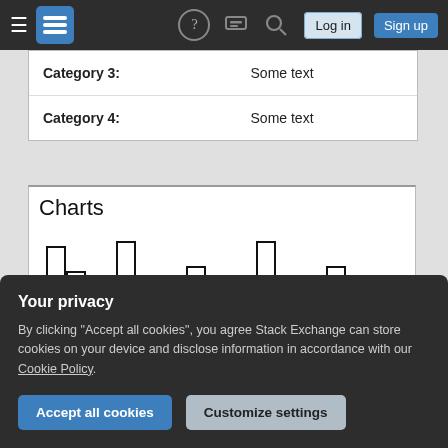Stack Exchange navigation bar with hamburger menu, logo, help, chat, search icons, Log in and Sign up buttons
| Category 3: | Some text |
| Category 4: | Some text |
Charts
[Figure (bar-chart): Grouped bar chart with multiple groups of bars, black outlines, white fill, repeated pattern across approximately 6 groups]
Your privacy
By clicking "Accept all cookies", you agree Stack Exchange can store cookies on your device and disclose information in accordance with our Cookie Policy.
Accept all cookies | Customize settings